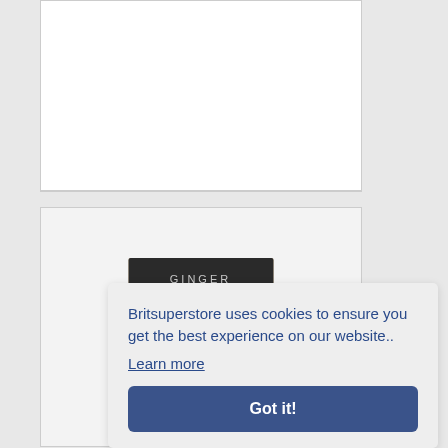[Figure (photo): White product image area for Marks and Spencer Oatcakes 300G]
MARKS AND SPENCER OATCAKES 300G
£2.85
VIEW DETAILS
[Figure (photo): Green and Black's Organic Ginger Dark Chocolate 60% cocoa product image]
Britsuperstore uses cookies to ensure you get the best experience on our website..
Learn more
Got it!